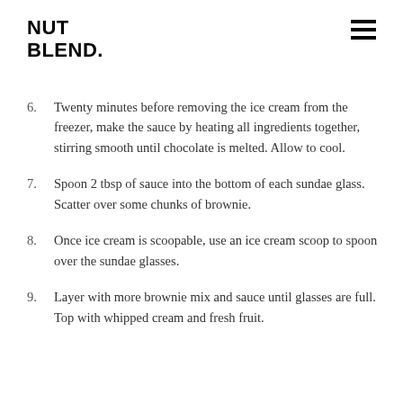NUT BLEND.
6. Twenty minutes before removing the ice cream from the freezer, make the sauce by heating all ingredients together, stirring smooth until chocolate is melted. Allow to cool.
7. Spoon 2 tbsp of sauce into the bottom of each sundae glass. Scatter over some chunks of brownie.
8. Once ice cream is scoopable, use an ice cream scoop to spoon over the sundae glasses.
9. Layer with more brownie mix and sauce until glasses are full. Top with whipped cream and fresh fruit.